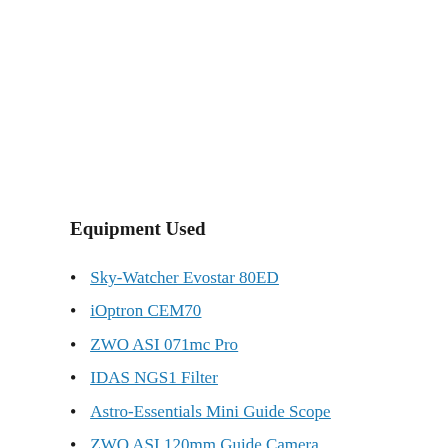Equipment Used
Sky-Watcher Evostar 80ED
iOptron CEM70
ZWO ASI 071mc Pro
IDAS NGS1 Filter
Astro-Essentials Mini Guide Scope
ZWO ASI 120mm Guide Camera